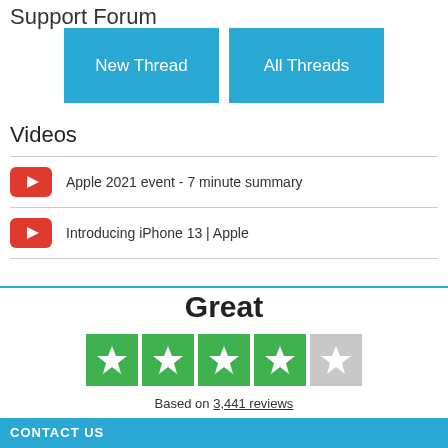Support Forum
[Figure (other): Two blue buttons labeled 'New Thread' and 'All Threads']
Videos
Apple 2021 event - 7 minute summary
Introducing iPhone 13 | Apple
[Figure (infographic): Trustpilot widget showing 'Great' rating with 4 out of 5 green stars and text 'Based on 3,441 reviews']
CONTACT US